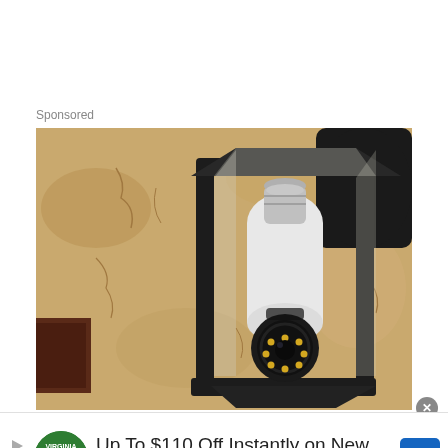Sponsored
[Figure (photo): A black metal outdoor wall lantern with glass panels mounted on a textured stucco wall, containing a white security camera bulb with LED ring visible at the bottom.]
Up To $110 Off Instantly on New Tires + $40 Off Alignments